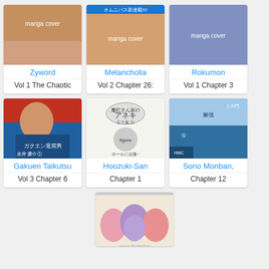[Figure (screenshot): Manga listing grid showing manga covers with titles and chapter info. Row 1: Zyword (Vol 1 The Chaotic), Melancholia (Vol 2 Chapter 26:), Rokumon (Vol 1 Chapter 3). Row 2: Gakuen Taikutsu (Vol 3 Chapter 6), Hoozuki-San (Chapter 1), Sono Monban (Chapter 12). Row 3: partially visible manga cover (bottom).]